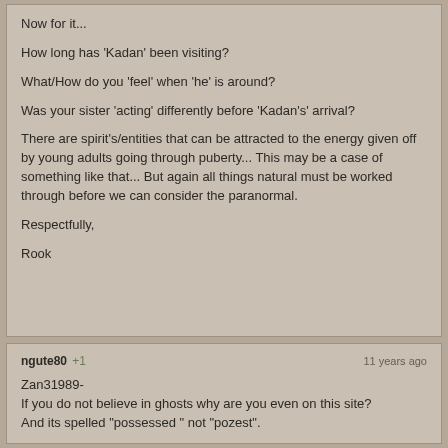Now for it...

How long has 'Kadan' been visiting?

What/How do you 'feel' when 'he' is around?

Was your sister 'acting' differently before 'Kadan's' arrival?

There are spirit's/entities that can be attracted to the energy given off by young adults going through puberty... This may be a case of something like that... But again all things natural must be worked through before we can consider the paranormal.

Respectfully,

Rook
ngute80 +1  11 years ago

Zan31989-
If you do not believe in ghosts why are you even on this site?
And its spelled "possessed " not "pozest".